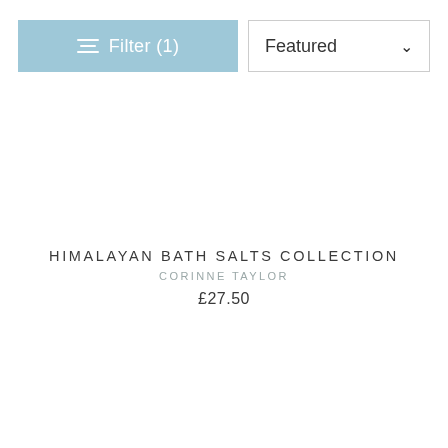[Figure (screenshot): Filter button (light blue) with filter icon and text 'Filter (1)', and a 'Featured' dropdown sort button with chevron]
HIMALAYAN BATH SALTS COLLECTION
CORINNE TAYLOR
£27.50